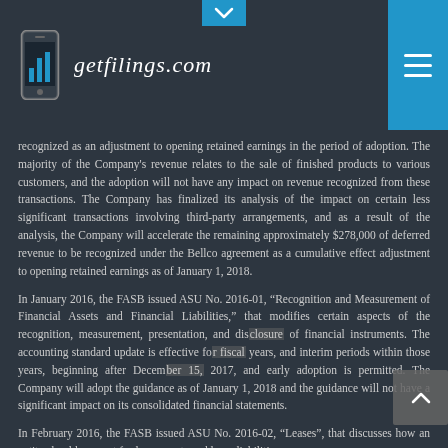[Figure (logo): getfilings.com logo with phone icon and bar chart graphic]
recognized as an adjustment to opening retained earnings in the period of adoption. The majority of the Company's revenue relates to the sale of finished products to various customers, and the adoption will not have any impact on revenue recognized from these transactions. The Company has finalized its analysis of the impact on certain less significant transactions involving third-party arrangements, and as a result of the analysis, the Company will accelerate the remaining approximately $278,000 of deferred revenue to be recognized under the Bellco agreement as a cumulative effect adjustment to opening retained earnings as of January 1, 2018.
In January 2016, the FASB issued ASU No. 2016-01, “Recognition and Measurement of Financial Assets and Financial Liabilities,” that modifies certain aspects of the recognition, measurement, presentation, and disclosure of financial instruments. The accounting standard update is effective for fiscal years, and interim periods within those years, beginning after December 15, 2017, and early adoption is permitted. The Company will adopt the guidance as of January 1, 2018 and the guidance will not have a significant impact on its consolidated financial statements.
In February 2016, the FASB issued ASU No. 2016-02, “Leases”, that discusses how an entity should account for lease assets and lease liabilities.